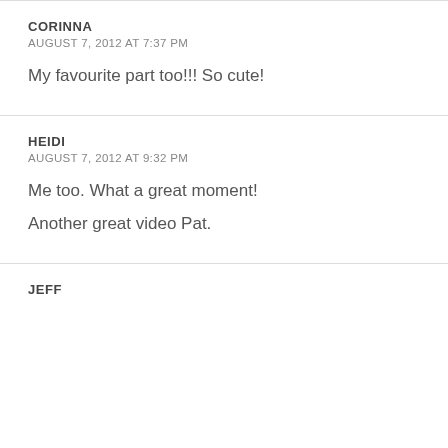CORINNA
AUGUST 7, 2012 AT 7:37 PM
My favourite part too!!! So cute!
HEIDI
AUGUST 7, 2012 AT 9:32 PM
Me too. What a great moment!
Another great video Pat.
JEFF